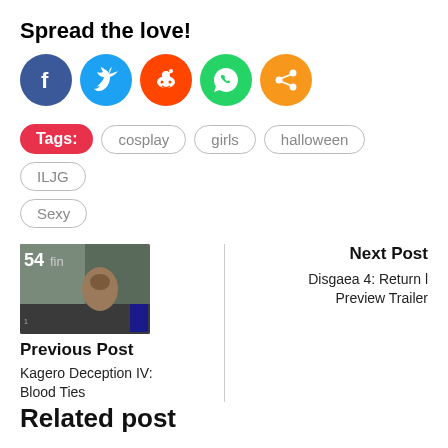Spread the love!
[Figure (infographic): Five social sharing icons: Facebook (blue circle, f), Twitter (blue circle, bird), Reddit (orange-red circle, alien), WhatsApp (green circle, phone), Share (orange circle, share icon)]
Tags: cosplay   girls   halloween   ILJG
Sexy
[Figure (photo): Game screenshot thumbnail showing a battle scene from Kagero Deception IV]
Previous Post
Kagero Deception IV: Blood Ties
Next Post
Disgaea 4: Return l Preview Trailer
Related post